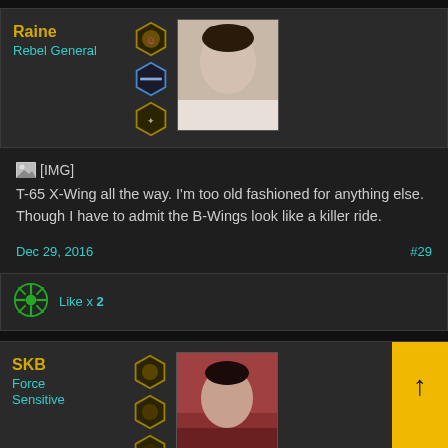Raine
Rebel General
[Figure (photo): Avatar photo of Raine, a woman with braided hair in a white outfit]
[Figure (illustration): Three hexagonal badge icons]
[Figure (illustration): [IMG] image placeholder icon]
T-65 X-Wing all the way. I'm too old fashioned for anything else. Though I have to admit the B-Wings look like a killer ride.
Dec 29, 2016
#29
[Figure (logo): Rebel Alliance symbol in green]
Like x 2
SKB
Force Sensitive
[Figure (photo): Avatar photo of SKB, a person with dramatic makeup and dark hair]
[Figure (illustration): Four hexagonal badge icons for SKB]
[Figure (illustration): Navigation up/down arrow buttons in yellow]